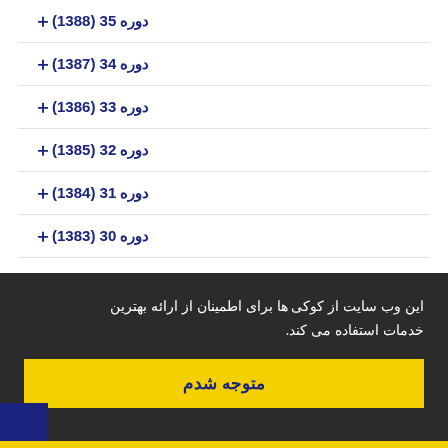دوره 35 (1388)
دوره 34 (1387)
دوره 33 (1386)
دوره 32 (1385)
دوره 31 (1384)
دوره 30 (1383)
دوره 29 (1382)
دوره 28 (1381)
این وب سایت از کوکی ها برای اطمینان از ارائه بهترین خدمات استفاده می کند.
متوجه شدم